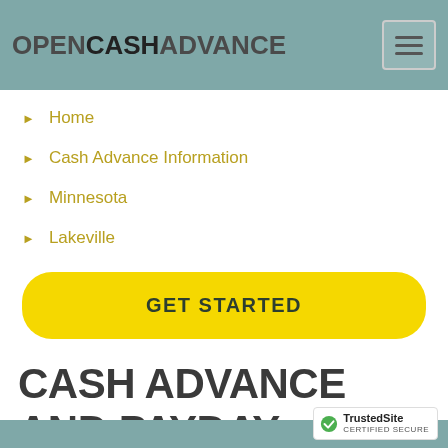OPENCASHADVANCE
Home
Cash Advance Information
Minnesota
Lakeville
GET STARTED
CASH ADVANCE AND PAYDAY LOANS IN LAKEVILLE, MN.